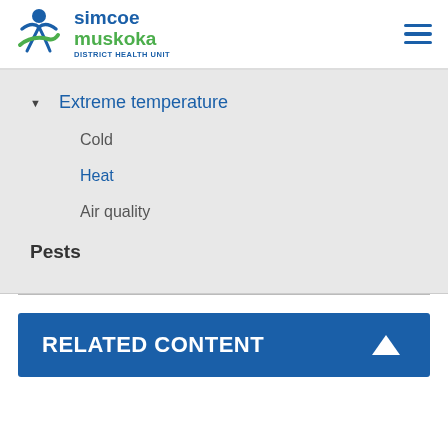Simcoe Muskoka District Health Unit
Extreme temperature
Cold
Heat
Air quality
Pests
RELATED CONTENT